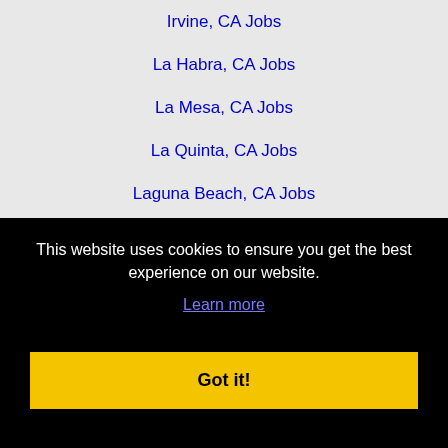Irvine, CA Jobs
La Habra, CA Jobs
La Mesa, CA Jobs
La Quinta, CA Jobs
Laguna Beach, CA Jobs
Laguna Niguel, CA Jobs
Lake Elsinore, CA Jobs
Lake Forest, CA Jobs
Mission Viejo, CA Jobs
Moreno Valley, CA Jobs
This website uses cookies to ensure you get the best experience on our website.
Learn more
Got it!